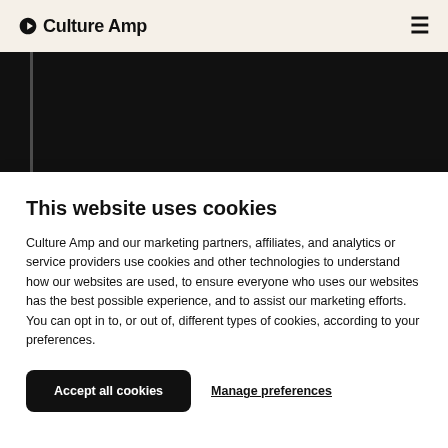Culture Amp
[Figure (screenshot): Dark hero image area with a partial white vertical bar on the left and the word 'Community' in bold white text at the bottom left]
This website uses cookies
Culture Amp and our marketing partners, affiliates, and analytics or service providers use cookies and other technologies to understand how our websites are used, to ensure everyone who uses our websites has the best possible experience, and to assist our marketing efforts. You can opt in to, or out of, different types of cookies, according to your preferences.
Accept all cookies | Manage preferences